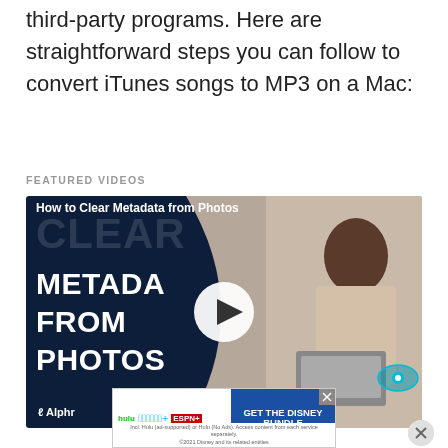third-party programs. Here are straightforward steps you can follow to convert iTunes songs to MP3 on a Mac:
FEATURED VIDEOS
[Figure (screenshot): Video thumbnail for 'How to Clear Metadata from Photos' on Alphr, showing a woman working at a laptop with dark blue panel on left with bold white text reading CLEAR METADA FROM PHOTOS, a play button in the center, and Alphr logo at bottom left.]
[Figure (screenshot): Advertisement banner for Disney Bundle featuring Hulu, Disney+, and ESPN+ logos with 'GET THE DISNEY BUNDLE' call to action on blue background and fine print below.]